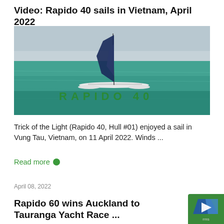Video: Rapido 40 sails in Vietnam, April 2022
[Figure (photo): Aerial photo of a Rapido 40 trimaran sailboat sailing on open water with 'RAPIDO 40' text overlay in green letters]
Trick of the Light (Rapido 40, Hull #01) enjoyed a sail in Vung Tau, Vietnam, on 11 April 2022. Winds ...
Read more
April 08, 2022
Rapido 60 wins Auckland to Tauranga Yacht Race ...